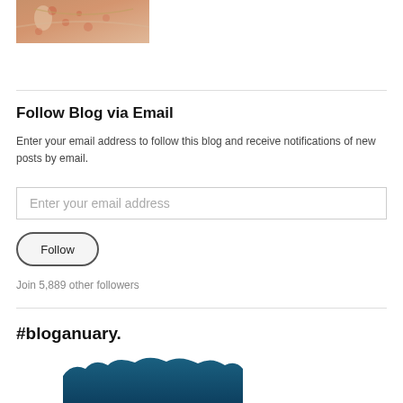[Figure (photo): Partial photo of a person wearing a floral top, cropped at top of page]
Follow Blog via Email
Enter your email address to follow this blog and receive notifications of new posts by email.
[Figure (other): Email address input text field with placeholder text 'Enter your email address']
[Figure (other): Follow button with rounded pill shape]
Join 5,889 other followers
#bloganuary.
[Figure (illustration): Partial illustration with dark teal/blue wavy or cloud-like shape at bottom of page]